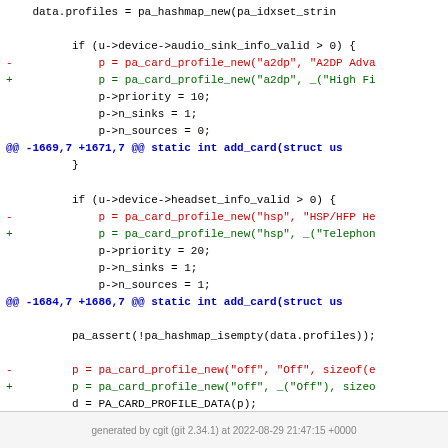[Figure (screenshot): Code diff screenshot showing changes to audio profile initialization in a C source file, with context lines in black, removed lines in red prefixed with '-', added lines in green prefixed with '+', and hunk headers in blue.]
generated by cgit (git 2.34.1) at 2022-08-29 21:47:15 +0000